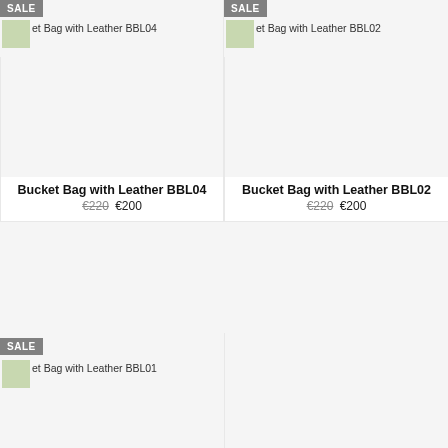[Figure (screenshot): Product listing page showing Bucket Bag with Leather items with SALE badges, product images, names, and prices]
SALE
Bucket Bag with Leather BBL04
SALE
Bucket Bag with Leather BBL02
Bucket Bag with Leather BBL04
€220 €200
Bucket Bag with Leather BBL02
€220 €200
SALE
Bucket Bag with Leather BBL01